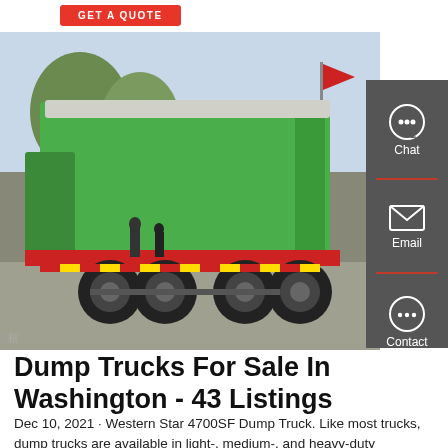GET A QUOTE
[Figure (photo): Green dump truck photographed from the rear-left angle, showing large enclosed green cargo bed with grey tarp cover, red chassis frame, dual rear axles with large black tires, and yellow-red reflective tape. People and trees visible in background. Photographed outdoors at what appears to be a trade show or exhibition.]
Dump Trucks For Sale In Washington - 43 Listings
Dec 10, 2021 · Western Star 4700SF Dump Truck. Like most trucks, dump trucks are available in light-, medium-, and heavy-duty classifications. Light-duty